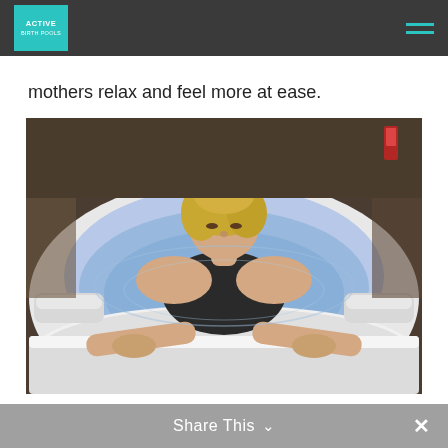ACTIVE [logo] — hamburger menu
mothers relax and feel more at ease.
[Figure (photo): A blonde woman in a black swimsuit leaning over the edge of a large white hydrotherapy/float pool with blue-lit water, hands gripping the pool edge, looking downward. The pool is in an indoor facility.]
Share This ∨  ✕